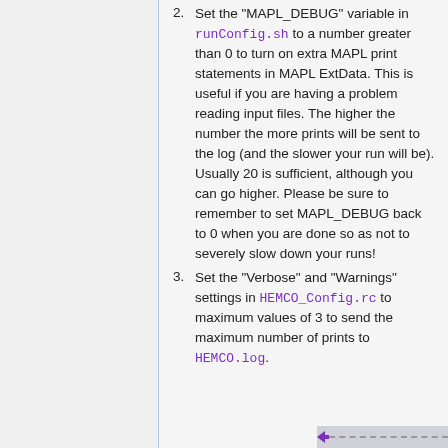2. Set the "MAPL_DEBUG" variable in runConfig.sh to a number greater than 0 to turn on extra MAPL print statements in MAPL ExtData. This is useful if you are having a problem reading input files. The higher the number the more prints will be sent to the log (and the slower your run will be). Usually 20 is sufficient, although you can go higher. Please be sure to remember to set MAPL_DEBUG back to 0 when you are done so as not to severely slow down your runs!
3. Set the "Verbose" and "Warnings" settings in HEMCO_Config.rc to maximum values of 3 to send the maximum number of prints to HEMCO.log.